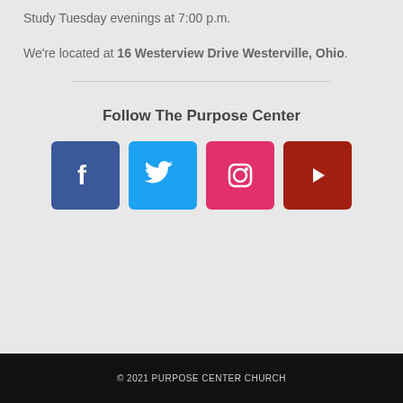Study Tuesday evenings at 7:00 p.m.
We're located at 16 Westerview Drive Westerville, Ohio.
Follow The Purpose Center
[Figure (illustration): Four social media icons: Facebook (blue), Twitter (light blue), Instagram (pink/red), YouTube (dark red)]
© 2021 PURPOSE CENTER CHURCH